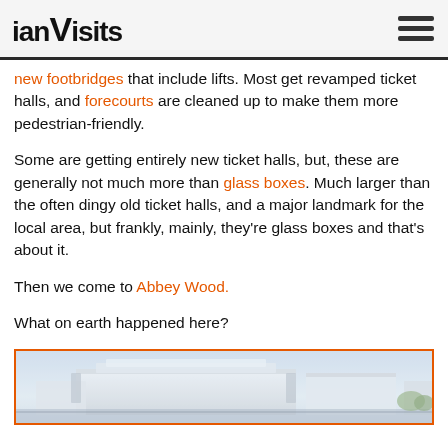ianVisits
new footbridges that include lifts. Most get revamped ticket halls, and forecourts are cleaned up to make them more pedestrian-friendly.
Some are getting entirely new ticket halls, but, these are generally not much more than glass boxes. Much larger than the often dingy old ticket halls, and a major landmark for the local area, but frankly, mainly, they're glass boxes and that's about it.
Then we come to Abbey Wood.
What on earth happened here?
[Figure (photo): Aerial or elevated view of Abbey Wood station building, a large modern structure with white/grey architecture, seen from above with surrounding area visible.]